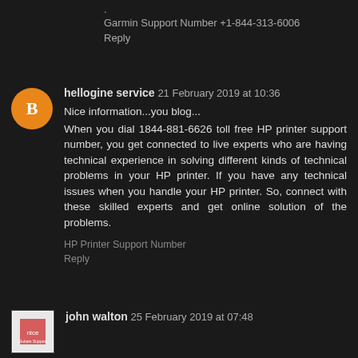Garmin Support Number +1-844-313-6006
Reply
hellogine service  21 February 2019 at 10:36
Nice information...you blog...
When you dial 1844-881-6626 toll free HP printer support number, you get connected to live experts who are having technical experience in solving different kinds of technical problems in your HP printer. If you have any technical issues when you handle your HP printer. So, connect with these skilled experts and get online solution of the problems.
HP Printer Support Number
Reply
john walton  25 February 2019 at 07:48